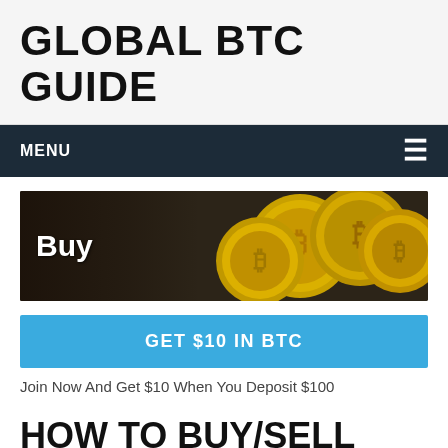GLOBAL BTC GUIDE
MENU
[Figure (photo): Banner image showing multiple gold Bitcoin coins with 'Buy' text overlaid in white bold font on dark background]
GET $10 IN BTC
Join Now And Get $10 When You Deposit $100
HOW TO BUY/SELL BTC AND OTHER CRYPTOCURRENCIES USING AFRIEX